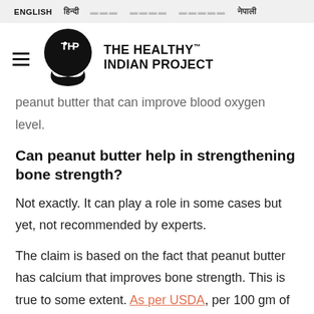ENGLISH  हिन्दी  [script] [script] [script] नेपाली
[Figure (logo): THiP - The Healthy Indian Project logo: black teardrop shape with white THiP text inside, next to bold text THE HEALTHY™ INDIAN PROJECT]
peanut butter that can improve blood oxygen level.
Can peanut butter help in strengthening bone strength?
Not exactly. It can play a role in some cases but yet, not recommended by experts.
The claim is based on the fact that peanut butter has calcium that improves bone strength. This is true to some extent. As per USDA, per 100 gm of